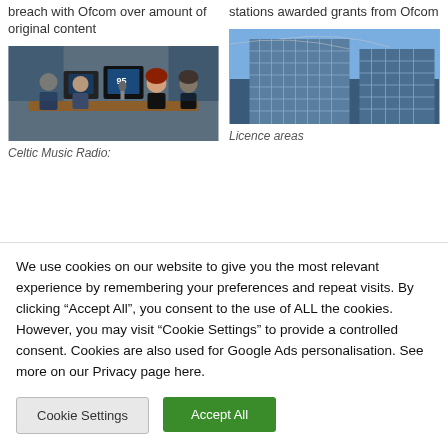breach with Ofcom over amount of original content
stations awarded grants from Ofcom
[Figure (photo): Radio studio with people posing at broadcast desk with monitors and equipment]
[Figure (photo): Modern glass office building exterior, blue glass facade]
Celtic Music Radio:
Licence areas
We use cookies on our website to give you the most relevant experience by remembering your preferences and repeat visits. By clicking “Accept All”, you consent to the use of ALL the cookies. However, you may visit “Cookie Settings” to provide a controlled consent. Cookies are also used for Google Ads personalisation. See more on our Privacy page here.
Cookie Settings
Accept All